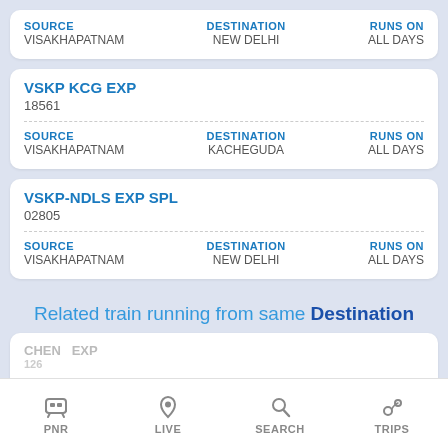| SOURCE | DESTINATION | RUNS ON |
| --- | --- | --- |
| VISAKHAPATNAM | NEW DELHI | ALL DAYS |
VSKP KCG EXP
18561
| SOURCE | DESTINATION | RUNS ON |
| --- | --- | --- |
| VISAKHAPATNAM | KACHEGUDA | ALL DAYS |
VSKP-NDLS EXP SPL
02805
| SOURCE | DESTINATION | RUNS ON |
| --- | --- | --- |
| VISAKHAPATNAM | NEW DELHI | ALL DAYS |
Related train running from same Destination
CHENNAI EXP 1260
PNR | LIVE | SEARCH | TRIPS